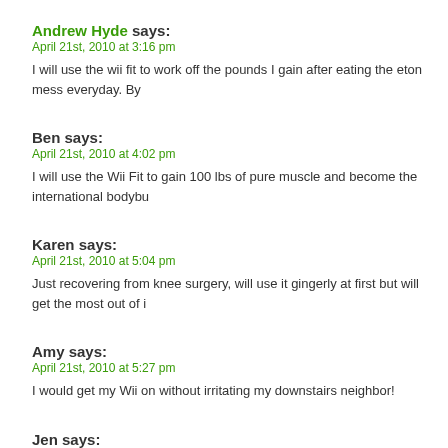Andrew Hyde says:
April 21st, 2010 at 3:16 pm
I will use the wii fit to work off the pounds I gain after eating the eton mess everyday. By
Ben says:
April 21st, 2010 at 4:02 pm
I will use the Wii Fit to gain 100 lbs of pure muscle and become the international bodybu
Karen says:
April 21st, 2010 at 5:04 pm
Just recovering from knee surgery, will use it gingerly at first but will get the most out of i
Amy says:
April 21st, 2010 at 5:27 pm
I would get my Wii on without irritating my downstairs neighbor!
Jen says:
April 21st, 2010 at 5:51 pm
Wii Fit sounds like wiiiiiicked fun!